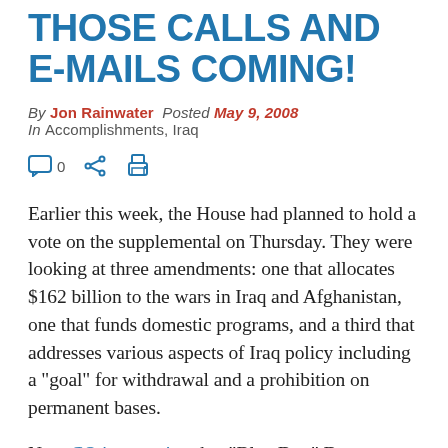THOSE CALLS AND E-MAILS COMING!
By Jon Rainwater  Posted May 9, 2008  In Accomplishments, Iraq
[Figure (other): Row of social/sharing icons: comment bubble with '0', share icon, print icon]
Earlier this week, the House had planned to hold a vote on the supplemental on Thursday.  They were looking at three amendments: one that allocates $162 billion to the wars in Iraq and Afghanistan, one that funds domestic programs, and a third that addresses various aspects of Iraq policy including a "goal" for withdrawal and a prohibition on permanent bases.
Now CQ is reporting that "Blue Dog" Democrats